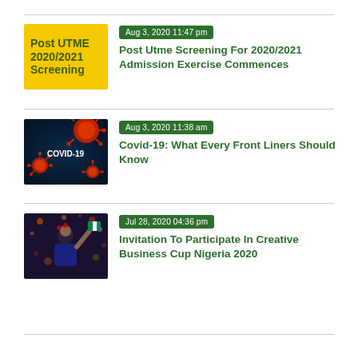[Figure (photo): Yellow background image with 'Post UTME 2020/2021 Screening' text in dark green bold font]
Aug 3, 2020 11:47 pm
Post Utme Screening For 2020/2021 Admission Exercise Commences
[Figure (photo): Dark blue background with red coronavirus particles and 'COVID-19' text]
Aug 3, 2020 11:38 am
Covid-19: What Every Front Liners Should Know
[Figure (photo): Woman holding Nigerian flag at a celebration event with lights in background]
Jul 28, 2020 04:36 pm
Invitation To Participate In Creative Business Cup Nigeria 2020